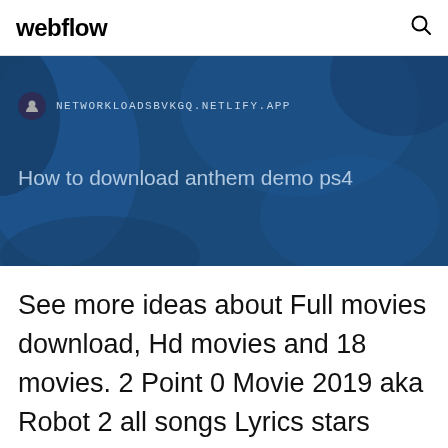webflow
[Figure (screenshot): Web browser banner with dark blue background, favicon, URL NETWORKLOADSBVKGQ.NETLIFY.APP and page title 'How to download anthem demo ps4']
See more ideas about Full movies download, Hd movies and 18 movies. 2 Point 0 Movie 2019 aka Robot 2 all songs Lyrics stars Rajinikanth Akshay Kumar Amy Bapparaj, poramon 2 full movie online Watch, poramon 2 movie download link Torrent NGK telugu